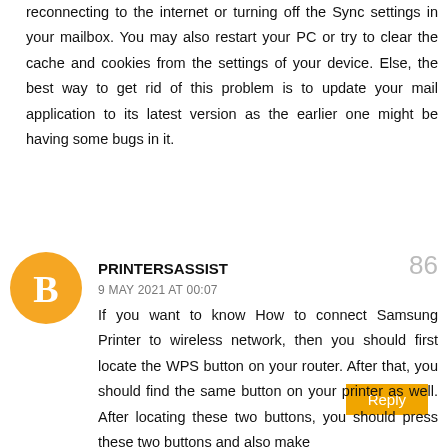reconnecting to the internet or turning off the Sync settings in your mailbox. You may also restart your PC or try to clear the cache and cookies from the settings of your device. Else, the best way to get rid of this problem is to update your mail application to its latest version as the earlier one might be having some bugs in it.
Reply
[Figure (logo): Orange circular Blogger avatar icon with white 'B' in center]
PRINTERSASSIST 86
9 MAY 2021 AT 00:07
If you want to know How to connect Samsung Printer to wireless network, then you should first locate the WPS button on your router. After that, you should find the same button on your printer as well. After locating these two buttons, you should press these two buttons and also make